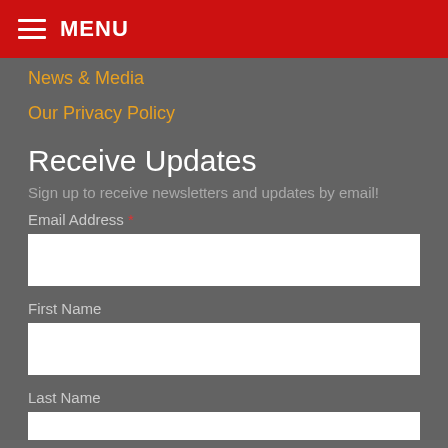MENU
News & Media
Our Privacy Policy
Receive Updates
Sign up to receive newsletters and updates by email!
Email Address *
First Name
Last Name